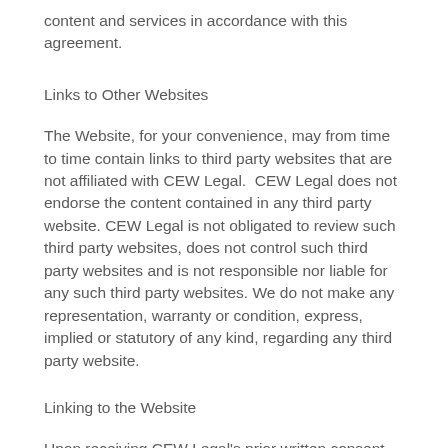content and services in accordance with this agreement.
Links to Other Websites
The Website, for your convenience, may from time to time contain links to third party websites that are not affiliated with CEW Legal.  CEW Legal does not endorse the content contained in any third party website. CEW Legal is not obligated to review such third party websites, does not control such third party websites and is not responsible nor liable for any such third party websites. We do not make any representation, warranty or condition, express, implied or statutory of any kind, regarding any third party website.
Linking to the Website
Upon receiving CEW Legal's prior written consent, you may create links to the Website from other websites.  CEW